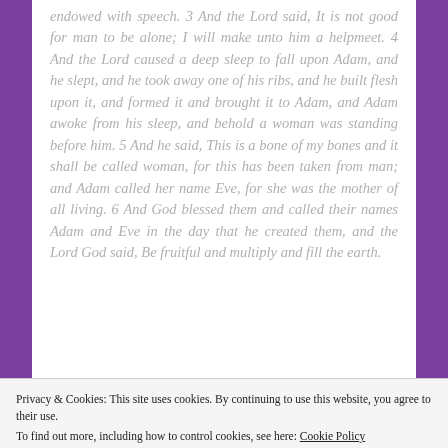endowed with speech. 3 And the Lord said, It is not good for man to be alone; I will make unto him a helpmeet. 4 And the Lord caused a deep sleep to fall upon Adam, and he slept, and he took away one of his ribs, and he built flesh upon it, and formed it and brought it to Adam, and Adam awoke from his sleep, and behold a woman was standing before him. 5 And he said, This is a bone of my bones and it shall be called woman, for this has been taken from man; and Adam called her name Eve, for she was the mother of all living. 6 And God blessed them and called their names Adam and Eve in the day that he created them, and the Lord God said, Be fruitful and multiply and fill the earth.
Privacy & Cookies: This site uses cookies. By continuing to use this website, you agree to their use.
To find out more, including how to control cookies, see here: Cookie Policy
Close and accept
Jubilees further records that Eve was formed in the